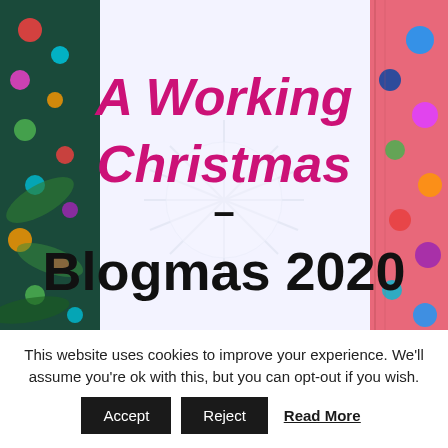[Figure (illustration): Blog post cover image with Christmas decorations background (colorful lights on left, pink/red fabric and baubles on right), a central frosted white panel with text: 'A Working Christmas - Blogmas 2020'. Title 'A Working Christmas' in bold magenta/pink, 'Blogmas 2020' in bold black large text, with a small dash separator between.]
This website uses cookies to improve your experience. We'll assume you're ok with this, but you can opt-out if you wish.
Accept   Reject   Read More